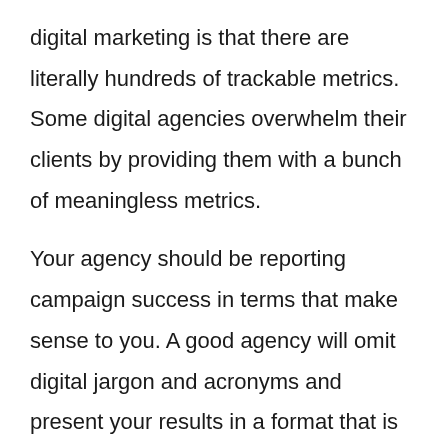digital marketing is that there are literally hundreds of trackable metrics. Some digital agencies overwhelm their clients by providing them with a bunch of meaningless metrics.
Your agency should be reporting campaign success in terms that make sense to you. A good agency will omit digital jargon and acronyms and present your results in a format that is easy to understand and relate to your business.
Let's say you're a dentist. The goal of your digital marketing campaign might be twofold: